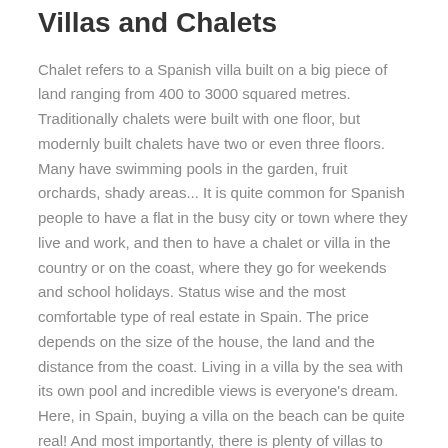Villas and Chalets
Chalet refers to a Spanish villa built on a big piece of land ranging from 400 to 3000 squared metres. Traditionally chalets were built with one floor, but modernly built chalets have two or even three floors. Many have swimming pools in the garden, fruit orchards, shady areas... It is quite common for Spanish people to have a flat in the busy city or town where they live and work, and then to have a chalet or villa in the country or on the coast, where they go for weekends and school holidays. Status wise and the most comfortable type of real estate in Spain. The price depends on the size of the house, the land and the distance from the coast. Living in a villa by the sea with its own pool and incredible views is everyone's dream. Here, in Spain, buying a villa on the beach can be quite real! And most importantly, there is plenty of villas to choose from.
Lands
If you plan to do a construction project, the ideal choice